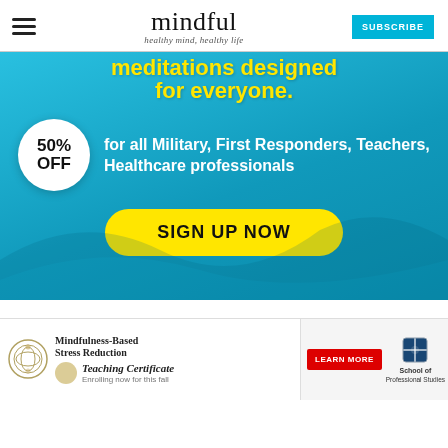mindful — healthy mind, healthy life — SUBSCRIBE
[Figure (infographic): Blue banner ad with yellow headline text 'meditations designed for everyone.' with a white circle badge showing '50% OFF' and text 'for all Military, First Responders, Teachers, Healthcare professionals' and a yellow 'SIGN UP NOW' button.]
[Figure (infographic): Bottom banner advertisement for Mindfulness-Based Stress Reduction Teaching Certificate, Enrolling now for this fall, with a red LEARN MORE button and School of Professional Studies logo, and an X close button.]